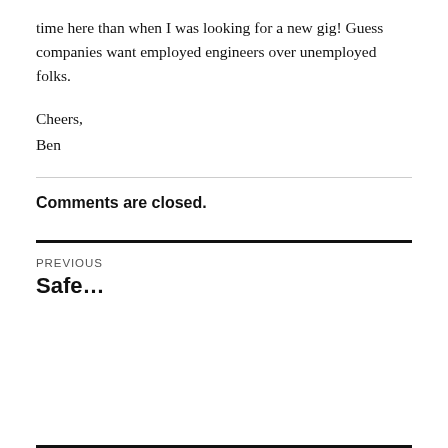time here than when I was looking for a new gig! Guess companies want employed engineers over unemployed folks.
Cheers,
Ben
Comments are closed.
PREVIOUS
Safe…